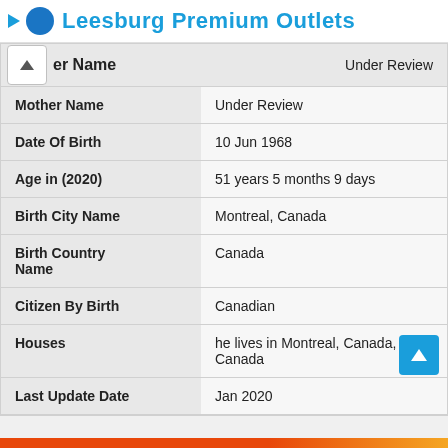Leesburg Premium Outlets
| Field | Value |
| --- | --- |
| er Name | Under Review |
| Mother Name | Under Review |
| Date Of Birth | 10 Jun 1968 |
| Age in (2020) | 51 years 5 months 9 days |
| Birth City Name | Montreal, Canada |
| Birth Country Name | Canada |
| Citizen By Birth | Canadian |
| Houses | he lives in Montreal, Canada, Canada |
| Last Update Date | Jan 2020 |